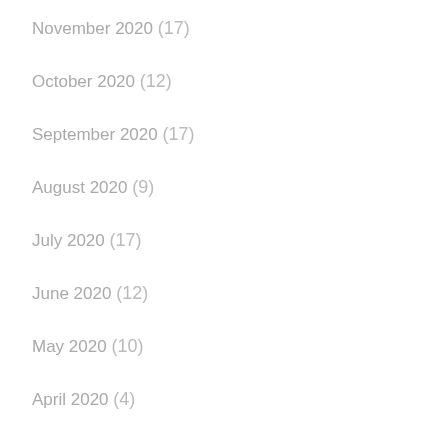November 2020 (17)
October 2020 (12)
September 2020 (17)
August 2020 (9)
July 2020 (17)
June 2020 (12)
May 2020 (10)
April 2020 (4)